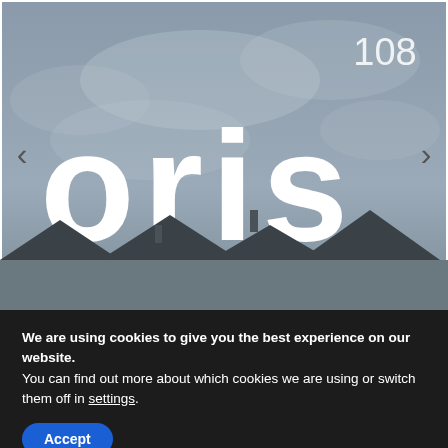[Figure (screenshot): Magazine cover for 'oris 108' showing the logo text 'oris' in large white stencil letters with '108' superscript, against a grey overcast sky with rooftop silhouettes at bottom. Left and right navigation arrows are visible on the image edges.]
We are using cookies to give you the best experience on our website.
You can find out more about which cookies we are using or switch them off in settings.
Accept